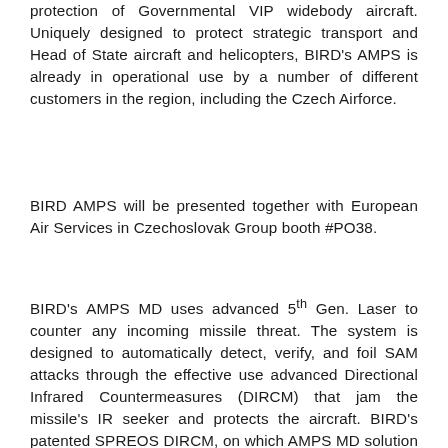protection of Governmental VIP widebody aircraft. Uniquely designed to protect strategic transport and Head of State aircraft and helicopters, BIRD's AMPS is already in operational use by a number of different customers in the region, including the Czech Airforce.
BIRD AMPS will be presented together with European Air Services in Czechoslovak Group booth #PO38.
BIRD's AMPS MD uses advanced 5th Gen. Laser to counter any incoming missile threat. The system is designed to automatically detect, verify, and foil SAM attacks through the effective use advanced Directional Infrared Countermeasures (DIRCM) that jam the missile's IR seeker and protects the aircraft. BIRD's patented SPREOS DIRCM, on which AMPS MD solution is based on uniquely